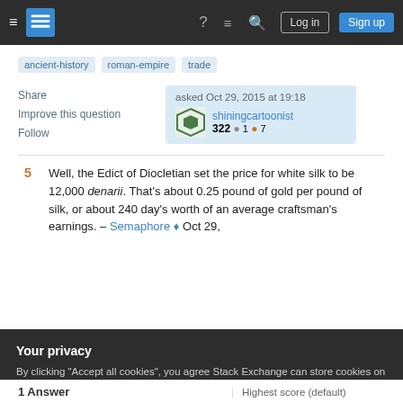Stack Exchange navigation — hamburger, logo, help, chat, search, Log in, Sign up
ancient-history
roman-empire
trade
Share
Improve this question
Follow
asked Oct 29, 2015 at 19:18
shiningcartoonist
322 ●1 ●7
5  Well, the Edict of Diocletian set the price for white silk to be 12,000 denarii. That's about 0.25 pound of gold per pound of silk, or about 240 day's worth of an average craftsman's earnings. – Semaphore ♦ Oct 29,
Your privacy
By clicking "Accept all cookies", you agree Stack Exchange can store cookies on your device and disclose information in accordance with our Cookie Policy.
Accept all cookies    Customize settings
1 Answer
Highest score (default)